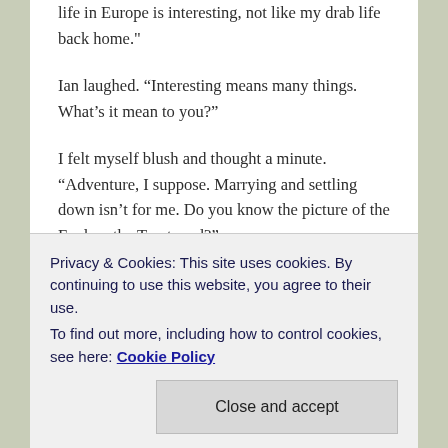life in Europe is interesting, not like my drab life back home."
Ian laughed. “Interesting means many things. What’s it mean to you?”
I felt myself blush and thought a minute. “Adventure, I suppose. Marrying and settling down isn’t for me. Do you know the picture of the Fool on the Tarot card?”
“Yes.”
“Well that’s me. I’m stepping off a cliff with my bag on a stick, a hobo off to see the world, each day a new beginning.”
Privacy & Cookies: This site uses cookies. By continuing to use this website, you agree to their use.
To find out more, including how to control cookies, see here: Cookie Policy
was just a bureaucrat doing his job.